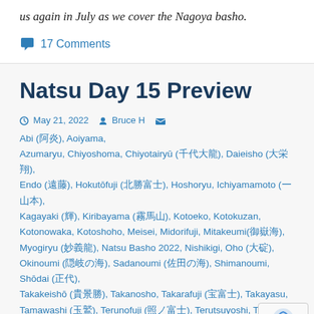us again in July as we cover the Nagoya basho.
💬 17 Comments
Natsu Day 15 Preview
May 21, 2022   Bruce H   Abi (阿炎), Aoiyama, Azumaryu, Chiyoshoma, Chiyotairyū (千代大龍), Daieisho (大栄翔), Endo (遠藤), Hokutōfuji (北勝富士), Hoshoryu, Ichiyamamoto (一山本), Kagayaki (輝), Kiribayama (霧馬山), Kotoeko, Kotokuzan, Kotonowaka, Kotoshoho, Meisei, Midorifuji, Mitakeumi(御嶽海), Myogiryu (妙義龍), Natsu Basho 2022, Nishikigi, Oho (大碇), Okinoumi (隠岐の海), Sadanoumi (佐田の海), Shimanoumi, Shōdai (正代), Takakeishō (貴景勝), Takanosho, Takarafuji (宝富士), Takayasu, Tamawashi (玉鷲), Terunofuji (照ノ富士), Terutsuyoshi, Tobizaru, Tochinoshin (栃ノ心), Ura (宇良), Wakamotoharu (若元春), Wakatakakage, Yutakayama, Ōnoshō (王鵬)